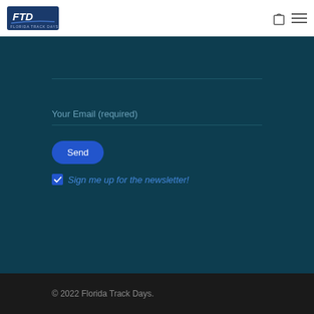[Figure (logo): FTD Florida Track Days logo in blue and white]
Your Email (required)
Send
Sign me up for the newsletter!
© 2022 Florida Track Days.